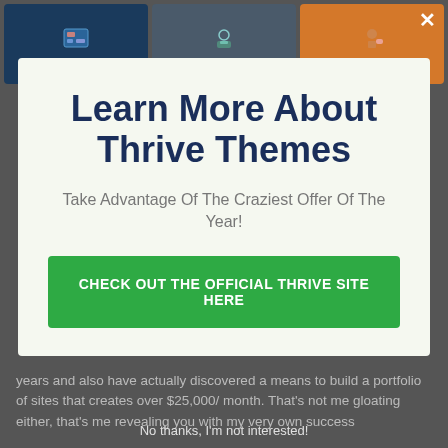[Figure (screenshot): Top banner showing three product cards: Thrive Leads (dark blue), Thrive Membership (gray), Thrive Ovation (orange), with close X button]
Learn More About Thrive Themes
Take Advantage Of The Craziest Offer Of The Year!
CHECK OUT THE OFFICIAL THRIVE SITE HERE
years and also have actually discovered a means to build a portfolio of sites that creates over $25,000/ month. That's not me gloating either, that's me revealing you with my very own success
No thanks, I'm not interested!